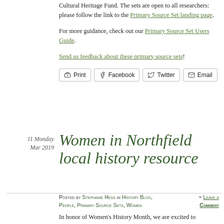Cultural Heritage Fund. The sets are open to all researchers: please follow the link to the Primary Source Set landing page.
For more guidance, check out our Primary Source Set Users Guide.
Send us feedback about these primary source sets!
Print  Facebook  Twitter  Email
11 Monday
Mar 2019
Women in Northfield local history resource
Posted by Stephanie Hess in History Blog, People, Primary Source Sets, Women  ≈ Leave a Comment
In honor of Women's History Month, we are excited to